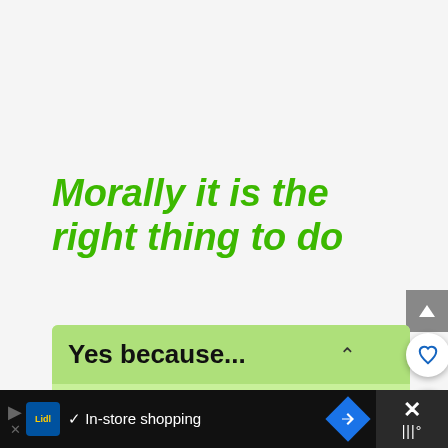Morally it is the right thing to do
Yes because...
Artefacts belong to their country of origin; repatriation is the right thing to do. They have a unique